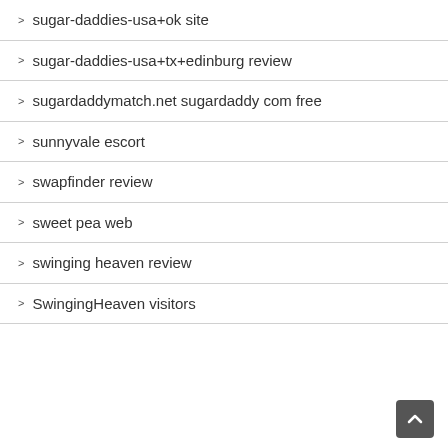sugar-daddies-usa+ok site
sugar-daddies-usa+tx+edinburg review
sugardaddymatch.net sugardaddy com free
sunnyvale escort
swapfinder review
sweet pea web
swinging heaven review
SwingingHeaven visitors